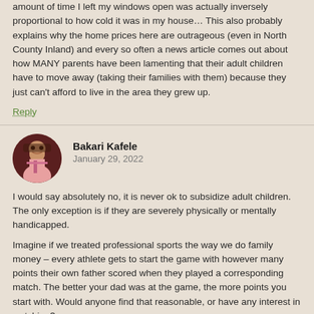amount of time I left my windows open was actually inversely proportional to how cold it was in my house… This also probably explains why the home prices here are outrageous (even in North County Inland) and every so often a news article comes out about how MANY parents have been lamenting that their adult children have to move away (taking their families with them) because they just can't afford to live in the area they grew up.
Reply
Bakari Kafele
January 29, 2022
I would say absolutely no, it is never ok to subsidize adult children.
The only exception is if they are severely physically or mentally handicapped.

Imagine if we treated professional sports the way we do family money – every athlete gets to start the game with however many points their own father scored when they played a corresponding match. The better your dad was at the game, the more points you start with. Would anyone find that reasonable, or have any interest in watching?
The only difference is, sports are just games for grown-